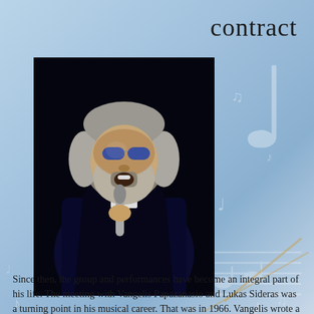contract
[Figure (photo): Demis Roussos performing on stage, holding a microphone, with long gray hair and blue sunglasses, wearing a dark outfit]
Since then, the group and performances have become an integral part of his life. The meeting with Vangelis Papazanasio and Lukas Sideras was a turning point in his musical career. That was in 1966. Vangelis wrote a song specifically for the voice of Demis. Singer Demis Roussos. After that, he began to sing in the group more and more. Continue reading →